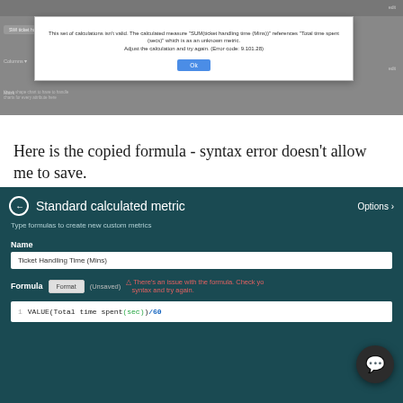[Figure (screenshot): Screenshot of a web application showing a dialog box with an error message about an invalid calculation. The dialog reads: 'This set of calculations isn't valid. The calculated measure "SUM(ticket handling time (Mins))" references "Total time spent (secs)" which is as an unknown metric. Adjust the calculation and try again. (Error code: 9.101.28)' with an OK button.]
Here is the copied formula - syntax error doesn't allow me to save.
[Figure (screenshot): Screenshot of a 'Standard calculated metric' editor with dark teal background. Shows: Name field containing 'Ticket Handling Time (Mins)', Formula section with Format button, (Unsaved) status, and an error message in red 'There's an issue with the formula. Check your syntax and try again.' The code editor shows line 1: VALUE(Total time spent(sec))/60 with a chat button in the bottom right corner.]